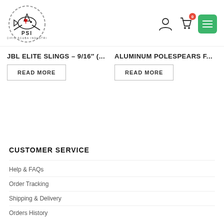[Figure (logo): Pacific Scuba Industries (PSI) logo with shark and maple leaf graphic, stylized text PSI and PACIFIC SCUBA INDUSTRIES below]
JBL ELITE SLINGS – 9/16″ (…
ALUMINUM POLESPEARS F…
READ MORE
READ MORE
CUSTOMER SERVICE
Help & FAQs
Order Tracking
Shipping & Delivery
Orders History